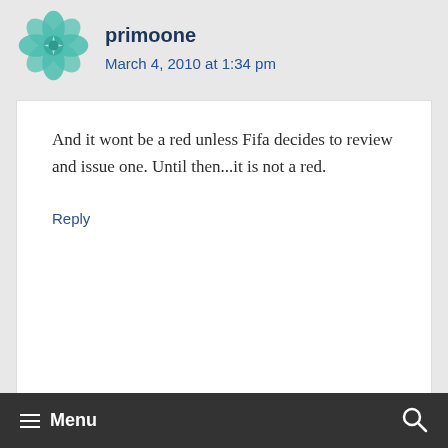[Figure (illustration): Teal/green geometric flower-like avatar icon for user primoone]
primoone
March 4, 2010 at 1:34 pm
And it wont be a red unless Fifa decides to review and issue one. Until then...it is not a red.
Reply
[Figure (illustration): Green dot grid pattern avatar icon for user Jank]
Jank
March 4, 2010 at 1:21 pm
≡ Menu